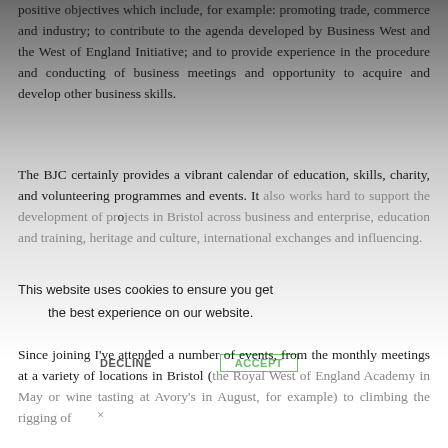positive objectives which include, for example: promoting trade, commerce and industry; to contribute to the agenda developed by Business West and the West of England Initiative; and to provide experience in the procedure and conducting of business meetings and opportunity to acquire and develop other business skills.
The BJC certainly provides a vibrant calendar of education, skills, charity, and volunteering programmes and events. It also works hard to support the development of projects in Bristol across business and enterprise, education and training, heritage and culture, international exchanges and influencing.
Since joining I've attended a number of events, from the monthly meetings at a variety of locations in Bristol (the Royal West of England Academy in May or wine tasting at Avory's in August, for example) to climbing the rigging of